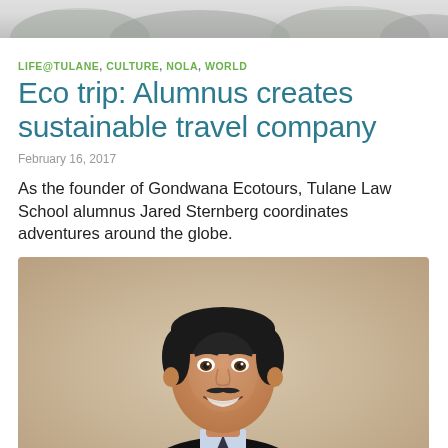[Figure (photo): Top banner photo showing a nature/outdoor scene, partially cropped]
LIFE@TULANE, CULTURE, NOLA, WORLD
Eco trip: Alumnus creates sustainable travel company
February 16, 2017
As the founder of Gondwana Ecotours, Tulane Law School alumnus Jared Sternberg coordinates adventures around the globe.
[Figure (photo): Portrait photo of Jared Sternberg, a smiling man with short dark hair and a mustache, wearing a dark suit jacket and light blue shirt, photographed against a beige background]